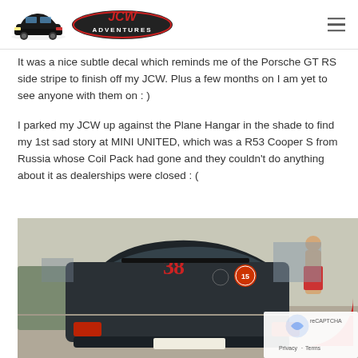JCW Adventures
It was a nice subtle decal which reminds me of the Porsche GT RS side stripe to finish off my JCW. Plus a few months on I am yet to see anyone with them on : )
I parked my JCW up against the Plane Hangar in the shade to find my 1st sad story at MINI UNITED, which was a R53 Cooper S from Russia whose Coil Pack had gone and they couldn't do anything about it as dealerships were closed : (
[Figure (photo): Rear view of a dark-colored MINI Cooper with number 38 displayed, stickers on rear window including a logo with number 15, parked at what appears to be MINI UNITED event. A person is visible in the background.]